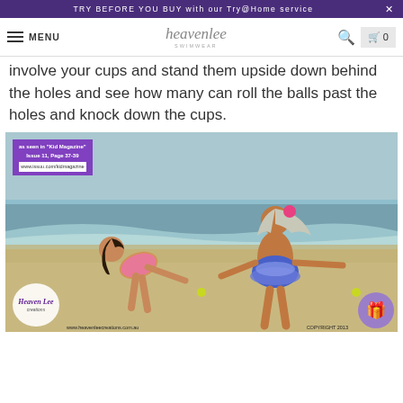TRY BEFORE YOU BUY with our Try@Home service  ×
MENU  heavenlee  🔍  🛒 0
involve your cups and stand them upside down behind the holes and see how many can roll the balls past the holes and knock down the cups.
[Figure (photo): Two girls in swimsuits playing on a beach. One bends forward, one stands with arms out. Overlay: purple badge 'as seen in Kid Magazine Issue 11, Page 37-39 www.issuu.com/kidmagazine'. Bottom: HeavenLee Creations logo, www.heavenleecreations.com.au, COPYRIGHT 2013.]